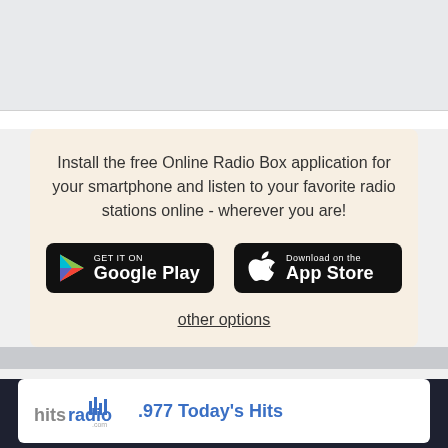[Figure (screenshot): Top gray banner area]
Install the free Online Radio Box application for your smartphone and listen to your favorite radio stations online - wherever you are!
[Figure (logo): Google Play store button]
[Figure (logo): Apple App Store button]
other options
.977 Today's Hits
[Figure (screenshot): Media player controls bar with heart, skip back, play, skip forward, and volume icons]